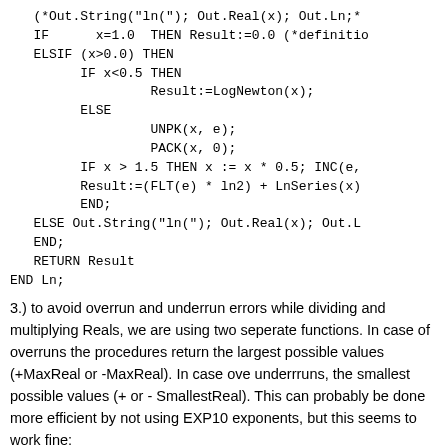(*Out.String("ln("); Out.Real(x); Out.Ln;*
   IF      x=1.0  THEN Result:=0.0 (*definitio
   ELSIF (x>0.0) THEN
         IF x<0.5 THEN
                  Result:=LogNewton(x);
         ELSE
                  UNPK(x, e);
                  PACK(x, 0);
         IF x > 1.5 THEN x := x * 0.5; INC(e,
         Result:=(FLT(e) * ln2) + LnSeries(x)
         END;
   ELSE Out.String("ln("); Out.Real(x); Out.L
   END;
   RETURN Result
END Ln;
3.) to avoid overrun and underrun errors while dividing and multiplying Reals, we are using two seperate functions. In case of overruns the procedures return the largest possible values (+MaxReal or -MaxReal). In case ove underrruns, the smallest possible values (+ or - SmallestReal). This can probably be done more efficient by not using EXP10 exponents, but this seems to work fine:
CONST MaxReal*        = 3.40282E+38;
      SmallestReal* = 1.17549E-38;